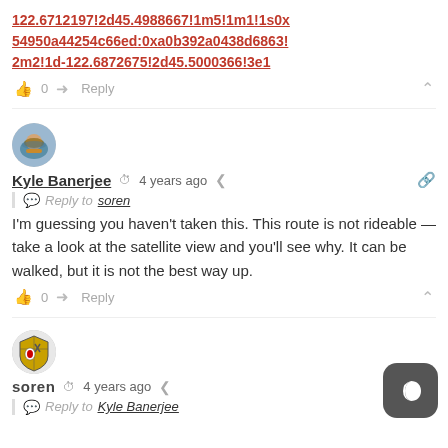122.6712197!2d45.4988667!1m5!1m1!1s0x54950a44254c66ed:0xa0b392a0438d6863!2m2!1d-122.6872675!2d45.5000366!3e1
👍 0  → Reply  ∧
[Figure (photo): Circular avatar of Kyle Banerjee, person in kayak on water]
Kyle Banerjee  🕐 4 years ago  < share  🔗
Reply to soren
I'm guessing you haven't taken this. This route is not rideable — take a look at the satellite view and you'll see why. It can be walked, but it is not the best way up.
👍 0  → Reply  ∧
[Figure (logo): Circular avatar with shield/coat of arms logo for user soren]
soren  🕐 4 years ago  < share  🔗
Reply to Kyle Banerjee
[Figure (other): Dark mode toggle button (moon icon, dark rounded square)]